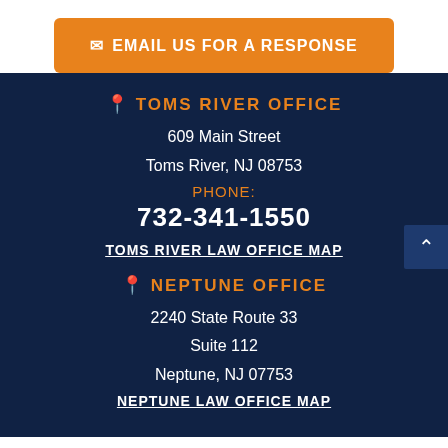EMAIL US FOR A RESPONSE
TOMS RIVER OFFICE
609 Main Street
Toms River, NJ 08753
PHONE:
732-341-1550
TOMS RIVER LAW OFFICE MAP
NEPTUNE OFFICE
2240 State Route 33
Suite 112
Neptune, NJ 07753
NEPTUNE LAW OFFICE MAP